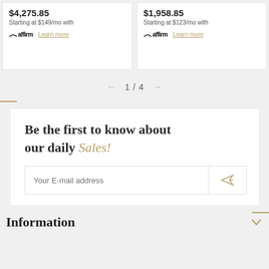$4,275.85 — Starting at $149/mo with Affirm Learn more
$1,958.85 — Starting at $123/mo with Affirm Learn more
1 / 4
Be the first to know about our daily Sales!
Your E-mail address
Information